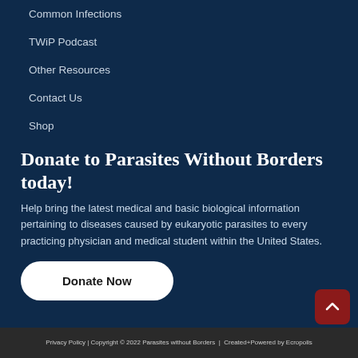Common Infections
TWiP Podcast
Other Resources
Contact Us
Shop
Donate to Parasites Without Borders today!
Help bring the latest medical and basic biological information pertaining to diseases caused by eukaryotic parasites to every practicing physician and medical student within the United States.
Donate Now
Privacy Policy | Copyright © 2022 Parasites without Borders | Created+Powered by Ecropolis